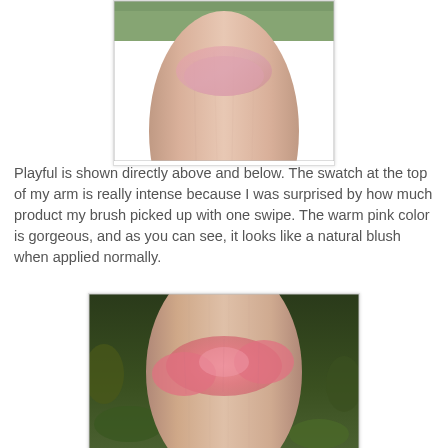[Figure (photo): Close-up photo of a forearm/wrist showing a pink blush swatch applied to skin, with green foliage background visible at the top]
Playful is shown directly above and below. The swatch at the top of my arm is really intense because I was surprised by how much product my brush picked up with one swipe. The warm pink color is gorgeous, and as you can see, it looks like a natural blush when applied normally.
[Figure (photo): Close-up photo of a forearm showing a warm pink blush swatch applied in a broad stroke across skin, with dark green foliage background]